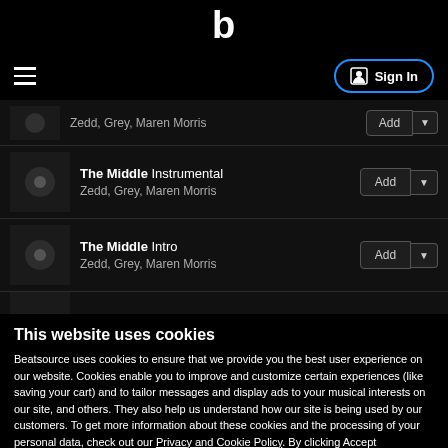Beatsource logo - b
Sign In
The Middle Instrumental - Zedd, Grey, Maren Morris - Add
The Middle Intro - Zedd, Grey, Maren Morris - Add
This website uses cookies
Beatsource uses cookies to ensure that we provide you the best user experience on our website. Cookies enable you to improve and customize certain experiences (like saving your cart) and to tailor messages and display ads to your musical interests on our site, and others. They also help us understand how our site is being used by our customers. To get more information about these cookies and the processing of your personal data, check out our Privacy and Cookie Policy. By clicking Accept Recommended Cookies you consent to the cookies on our site.
Accept Recommended Cookies
Update Preferences